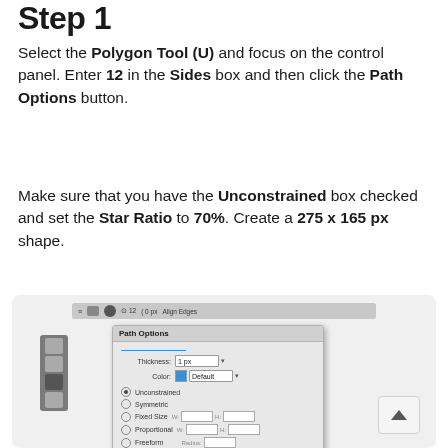Step 1
Select the Polygon Tool (U) and focus on the control panel. Enter 12 in the Sides box and then click the Path Options button.
Make sure that you have the Unconstrained box checked and set the Star Ratio to 70%. Create a 275 x 165 px shape.
[Figure (screenshot): Screenshot of Photoshop interface showing the Path Options dialog box with Unconstrained selected, Star Ratio set to 70%, and associated toolbar icons.]